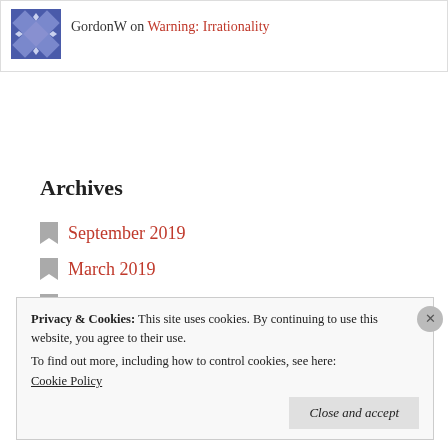GordonW on Warning: Irrationality
Archives
September 2019
March 2019
September 2018
April 2018
March 2018
Privacy & Cookies: This site uses cookies. By continuing to use this website, you agree to their use. To find out more, including how to control cookies, see here: Cookie Policy